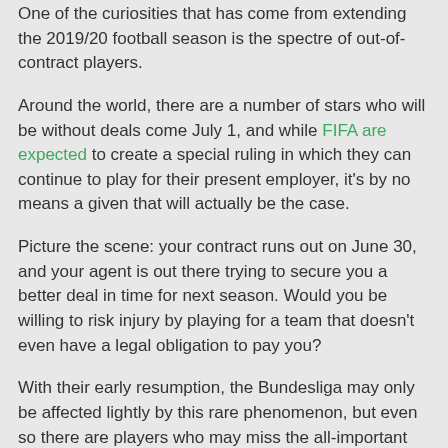One of the curiosities that has come from extending the 2019/20 football season is the spectre of out-of-contract players.
Around the world, there are a number of stars who will be without deals come July 1, and while FIFA are expected to create a special ruling in which they can continue to play for their present employer, it's by no means a given that will actually be the case.
Picture the scene: your contract runs out on June 30, and your agent is out there trying to secure you a better deal in time for next season. Would you be willing to risk injury by playing for a team that doesn't even have a legal obligation to pay you?
With their early resumption, the Bundesliga may only be affected lightly by this rare phenomenon, but even so there are players who may miss the all-important last couple of matches on this legal technicality.